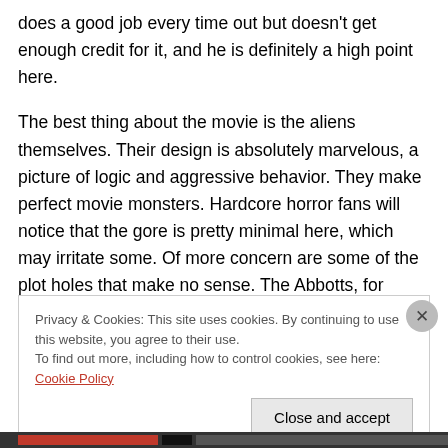does a good job every time out but doesn't get enough credit for it, and he is definitely a high point here.
The best thing about the movie is the aliens themselves. Their design is absolutely marvelous, a picture of logic and aggressive behavior. They make perfect movie monsters. Hardcore horror fans will notice that the gore is pretty minimal here, which may irritate some. Of more concern are some of the plot holes that make no sense. The Abbotts, for example seem to have an unlimited supply of batteries. Where are they getting them?
Privacy & Cookies: This site uses cookies. By continuing to use this website, you agree to their use.
To find out more, including how to control cookies, see here: Cookie Policy